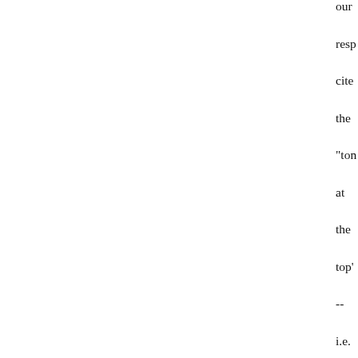our resp cite the "ton at the top' -- i.e. the CEO con to a div boa -- as the prin driv (or, i...